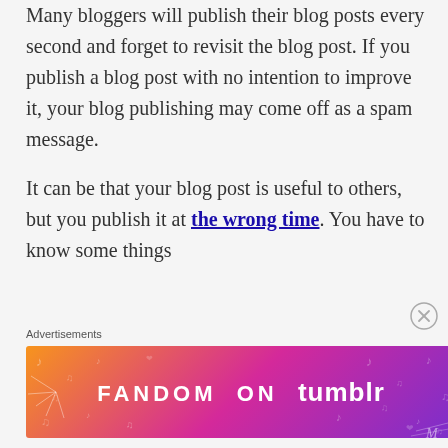Many bloggers will publish their blog posts every second and forget to revisit the blog post. If you publish a blog post with no intention to improve it, your blog publishing may come off as a spam message.
It can be that your blog post is useful to others, but you publish it at the wrong time. You have to know some things
Advertisements
[Figure (illustration): Advertisement banner for Fandom on Tumblr with colorful gradient background (orange to purple) and decorative musical note patterns, showing text 'FANDOM ON tumblr']